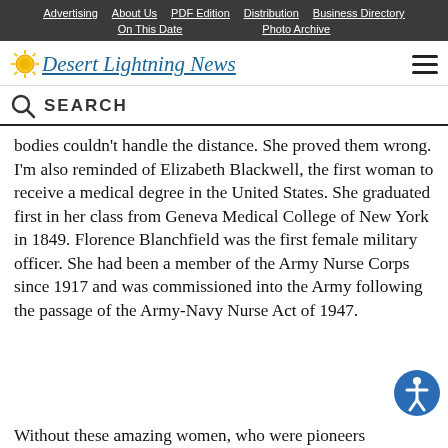Advertising | About Us | PDF Edition | Distribution | Business Directory | On This Date | Photo Archive
Desert Lightning News
SEARCH
bodies couldn't handle the distance. She proved them wrong. I'm also reminded of Elizabeth Blackwell, the first woman to receive a medical degree in the United States. She graduated first in her class from Geneva Medical College of New York in 1849. Florence Blanchfield was the first female military officer. She had been a member of the Army Nurse Corps since 1917 and was commissioned into the Army following the passage of the Army-Navy Nurse Act of 1947.
Without these amazing women, who were pioneers